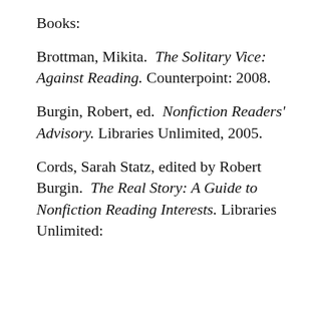Books:
Brottman, Mikita.  The Solitary Vice: Against Reading. Counterpoint: 2008.
Burgin, Robert, ed.  Nonfiction Readers' Advisory. Libraries Unlimited, 2005.
Cords, Sarah Statz, edited by Robert Burgin.  The Real Story: A Guide to Nonfiction Reading Interests. Libraries Unlimited: